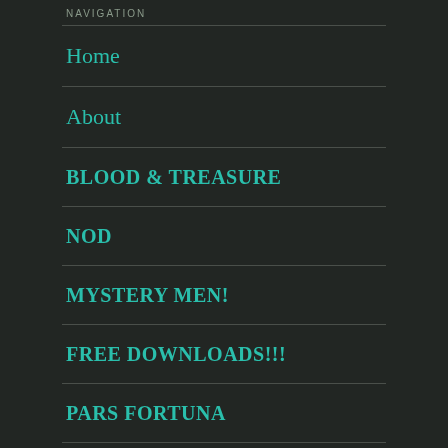NAVIGATION
Home
About
BLOOD & TREASURE
NOD
MYSTERY MEN!
FREE DOWNLOADS!!!
PARS FORTUNA
OGL